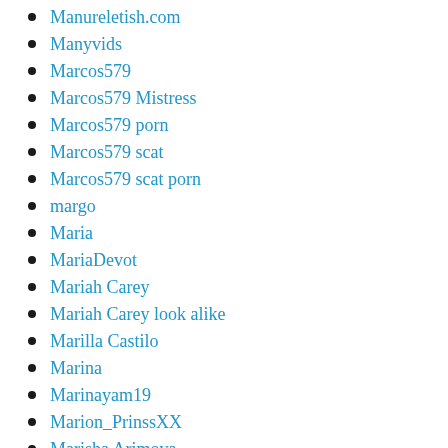Manureletish.com
Manyvids
Marcos579
Marcos579 Mistress
Marcos579 porn
Marcos579 scat
Marcos579 scat porn
margo
Maria
MariaDevot
Mariah Carey
Mariah Carey look alike
Marilla Castilo
Marina
Marinayam19
Marion_PrinssXX
Marisha Arimova